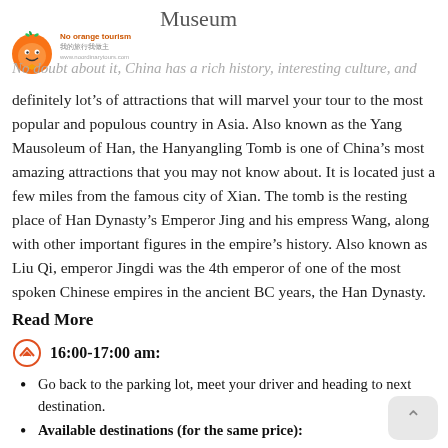Museum
[Figure (logo): Orange mascot logo with text 'No orange tourism' and tagline]
No doubt about it, China has a rich history, interesting culture, and
definitely lot’s of attractions that will marvel your tour to the most popular and populous country in Asia. Also known as the Yang Mausoleum of Han, the Hanyangling Tomb is one of China’s most amazing attractions that you may not know about. It is located just a few miles from the famous city of Xian. The tomb is the resting place of Han Dynasty’s Emperor Jing and his empress Wang, along with other important figures in the empire’s history. Also known as Liu Qi, emperor Jingdi was the 4th emperor of one of the most spoken Chinese empires in the ancient BC years, the Han Dynasty.
Read More
16:00-17:00 am:
Go back to the parking lot, meet your driver and heading to next destination.
Available destinations (for the same price):
1,Back to hotel in downtown Xi’an
2,Xianyang international airport
3,Xi’an railway station